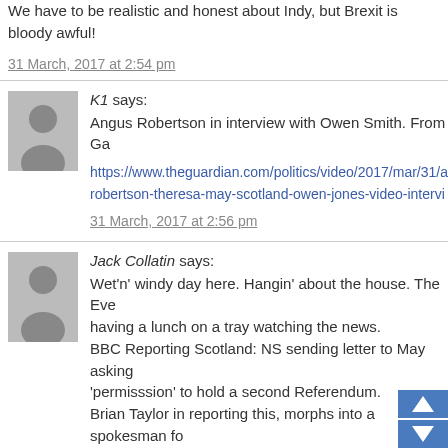We have to be realistic and honest about Indy, but Brexit is bloody awful!
31 March, 2017 at 2:54 pm
K1 says:
Angus Robertson in interview with Owen Smith. From Ga
https://www.theguardian.com/politics/video/2017/mar/31/a robertson-theresa-may-scotland-owen-jones-video-intervi
31 March, 2017 at 2:56 pm
Jack Collatin says:
Wet'n' windy day here. Hangin' about the house. The Eve having a lunch on a tray watching the news.
BBC Reporting Scotland: NS sending letter to May asking 'permisssion' to hold a second Referendum.
Brian Taylor in reporting this, morphs into a spokesman fo Government, and tells us all that May will say ‘No’.
It is not his function or role to be political. He is a reporter of events, and once facts are known give us his pearls of wisdom.
What if May will say Yes?